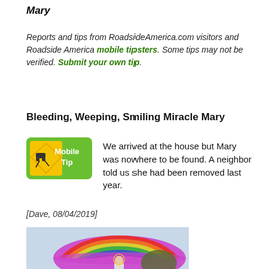Mary
Reports and tips from RoadsideAmerica.com visitors and Roadside America mobile tipsters. Some tips may not be verified. Submit your own tip.
Bleeding, Weeping, Smiling Miracle Mary
[Figure (infographic): Mobile Tip badge: yellow warning sign with car skidding icon, green background, text 'Mobile Tip']
We arrived at the house but Mary was nowhere to be found. A neighbor told us she had been removed last year.
[Dave, 08/04/2019]
[Figure (photo): Photograph of a Mary statue outdoors beneath a large colorful rainbow umbrella, mounted on a pedestal near a brick building with red poinsettias at the base.]